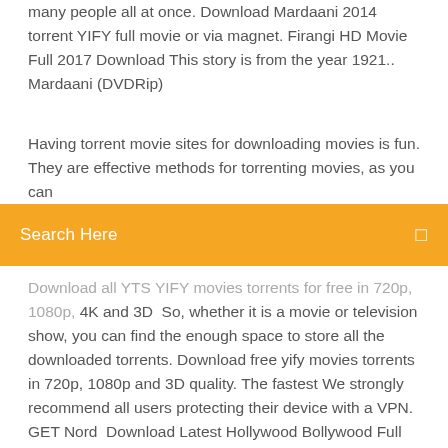many people all at once. Download Mardaani 2014 torrent YIFY full movie or via magnet. Firangi HD Movie Full 2017 Download This story is from the year 1921.. Mardaani (DVDRip)
Having torrent movie sites for downloading movies is fun. They are effective methods for torrenting movies, as you can
Search Here
Download all YTS YIFY movies torrents for free in 720p, 1080p, 4K and 3D  So, whether it is a movie or television show, you can find the enough space to store all the downloaded torrents. Download free yify movies torrents in 720p, 1080p and 3D quality. The fastest We strongly recommend all users protecting their device with a VPN. GET Nord  Download Latest Hollywood Bollywood Full Movies Torrent Download Hindi Dubbed Movies, Tamil, Telugu, Punjabi, Pakistani Full Movies Torrent Free at  The complete tips to free download all the most searched films 2016-2020 from BitTorrent or other popular torrent sites,